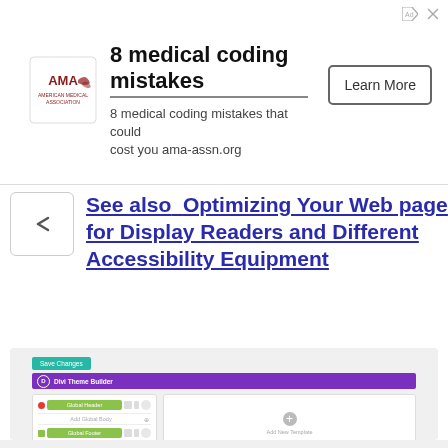[Figure (screenshot): AMA advertisement banner: '8 medical coding mistakes' with AMA logo and 'Learn More' button]
See also  Optimizing Your Web page for Display Readers and Different Accessibility Equipment
[Figure (screenshot): Divi Theme Builder interface screenshot showing Global Header, Add Global Body, Global Footer rows and an Add New Template panel on the right]